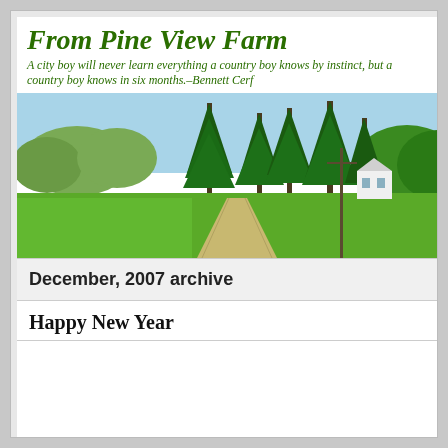From Pine View Farm
A city boy will never learn everything a country boy knows by instinct, but a country boy knows in six months.–Bennett Cerf
[Figure (photo): Wide-angle photo of a farm scene with a long dirt driveway leading to a white farmhouse, surrounded by green fields and tall pine trees under a clear blue sky.]
December, 2007 archive
Happy New Year